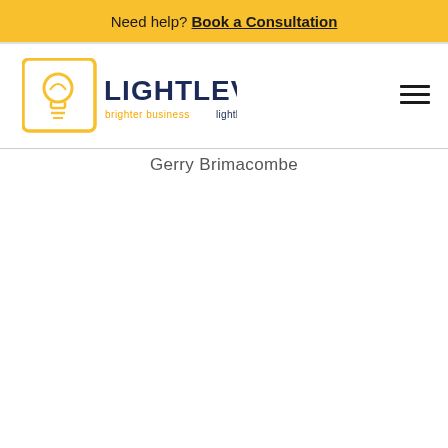Need help? Book a Consultation
[Figure (logo): Lightlever logo with lightbulb icon, text 'LIGHTLEVER' in dark navy, tagline 'brighter business lightlever.ca' in orange/yellow]
Gerry Brimacombe